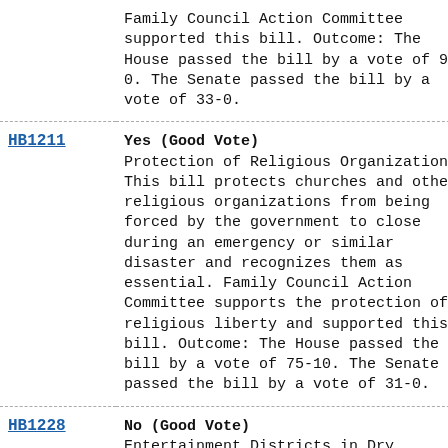| Bill | Vote / Description |
| --- | --- |
| (continued) | Family Council Action Committee supported this bill. Outcome: The House passed the bill by a vote of 91-0. The Senate passed the bill by a vote of 33-0. |
| HB1211 | Yes (Good Vote)
Protection of Religious Organizations
This bill protects churches and other religious organizations from being forced by the government to close during an emergency or similar disaster and recognizes them as essential. Family Council Action Committee supports the protection of religious liberty and supported this bill. Outcome: The House passed the bill by a vote of 75-10. The Senate passed the bill by a vote of 31-0. |
| HB1228 | No (Good Vote)
Entertainment Districts in Dry Counties |